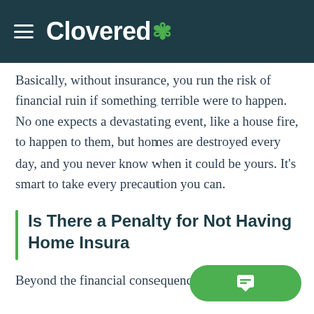Clovered
Basically, without insurance, you run the risk of financial ruin if something terrible were to happen. No one expects a devastating event, like a house fire, to happen to them, but homes are destroyed every day, and you never know when it could be yours. It’s smart to take every precaution you can.
Is There a Penalty for Not Having Home Insurance?
Beyond the financial consequences